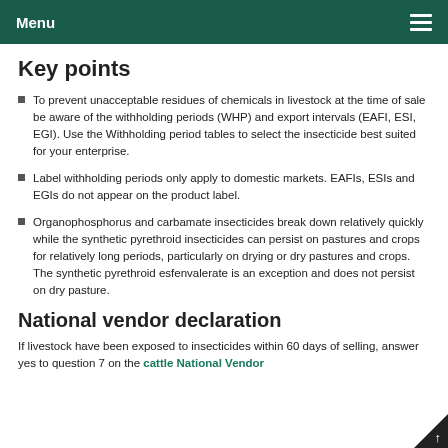Menu
Key points
To prevent unacceptable residues of chemicals in livestock at the time of sale be aware of the withholding periods (WHP) and export intervals (EAFI, ESI, EGI). Use the Withholding period tables to select the insecticide best suited for your enterprise.
Label withholding periods only apply to domestic markets. EAFIs, ESIs and EGIs do not appear on the product label.
Organophosphorus and carbamate insecticides break down relatively quickly while the synthetic pyrethroid insecticides can persist on pastures and crops for relatively long periods, particularly on drying or dry pastures and crops. The synthetic pyrethroid esfenvalerate is an exception and does not persist on dry pasture.
National vendor declaration
If livestock have been exposed to insecticides within 60 days of selling, answer yes to question 7 on the cattle National Vendor